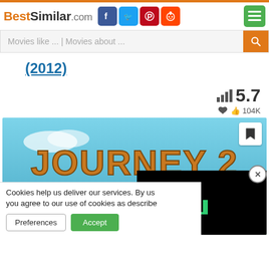BestSimilar.com
Movies like ... | Movies about ...
(2012)
5.7
104K
[Figure (illustration): Journey 2: The Mysterious Island movie poster with golden text on blue sky and tropical island background]
Cookies help us deliver our services. By us... you agree to our use of cookies as describe...
Preferences
Accept